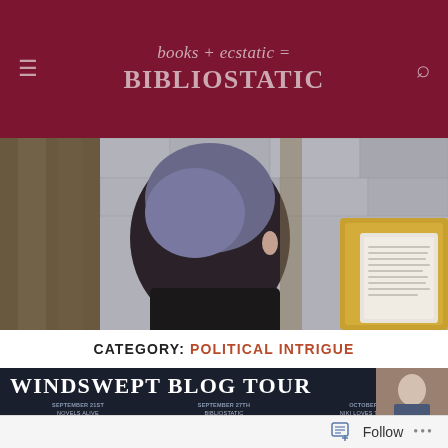books + ecstatic = BIBLIOSTATIC
[Figure (photo): Back view of a person with short blue-grey hair sitting outdoors reading an e-reader on a yellow chair, wooden furniture visible, stone wall background]
CATEGORY: POLITICAL INTRIGUE
[Figure (infographic): Windswept Blog Tour banner with dark navy background listing tour dates: September 21st Novels Alive, Booking with Janelle, Books Ramblings and Tea; September 22nd Pursuing Stacie; September 27th Bibliostatic, Novels Alive, Reader Ceygo; September 28th Donna's Book Blog; October 8th Niki Loves to Read; October 11th Little But Fierce Book Diary; October 13th & 14th [additional dates]; with a book cover thumbnail on the right]
Follow